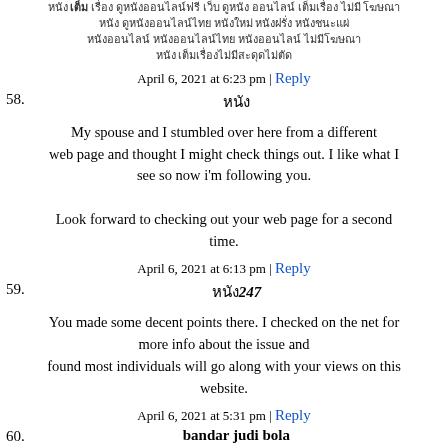[Thai text block - continuation of previous comment]
April 6, 2021 at 6:23 pm | Reply
58. หนัง
My spouse and I stumbled over here from a different web page and thought I might check things out. I like what I see so now i'm following you.

Look forward to checking out your web page for a second time.
April 6, 2021 at 6:13 pm | Reply
59. หนัง247
You made some decent points there. I checked on the net for more info about the issue and found most individuals will go along with your views on this website.
April 6, 2021 at 5:31 pm | Reply
60. bandar judi bola